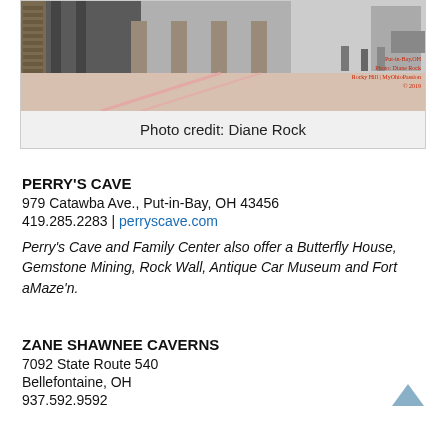[Figure (photo): Street scene photo from Put-in-Bay, OH with watermark text: Put-in-Bay, OH Photo: Diane Rock Rocky Hill | MyOhioPassion © 2019]
Photo credit: Diane Rock
PERRY'S CAVE
979 Catawba Ave., Put-in-Bay, OH 43456
419.285.2283  |  perryscave.com
Perry's Cave and Family Center also offer a Butterfly House, Gemstone Mining, Rock Wall, Antique Car Museum and Fort aMaze'n.
ZANE SHAWNEE CAVERNS
7092 State Route 540
Bellefontaine, OH
937.592.9592